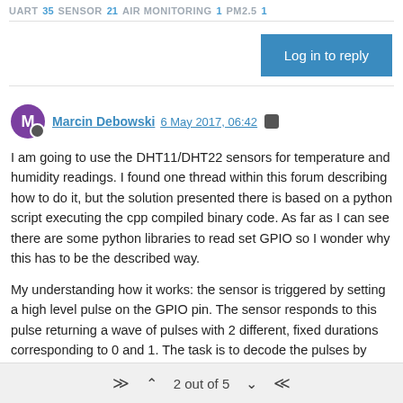UART 35 SENSOR 21 AIR MONITORING 1 PM2.5 1
Log in to reply
Marcin Debowski 6 May 2017, 06:42
I am going to use the DHT11/DHT22 sensors for temperature and humidity readings. I found one thread within this forum describing how to do it, but the solution presented there is based on a python script executing the cpp compiled binary code. As far as I can see there are some python libraries to read set GPIO so I wonder why this has to be the described way.
My understanding how it works: the sensor is triggered by setting a high level pulse on the GPIO pin. The sensor responds to this pulse returning a wave of pulses with 2 different, fixed durations corresponding to 0 and 1. The task is to decode the pulses by analyzing their width (duration) and assemble them into bytes. This obviously requires sampling the GPIO state into some sort of array. It seems the sampling rate should be with the resolution ~20us (or
2 out of 5